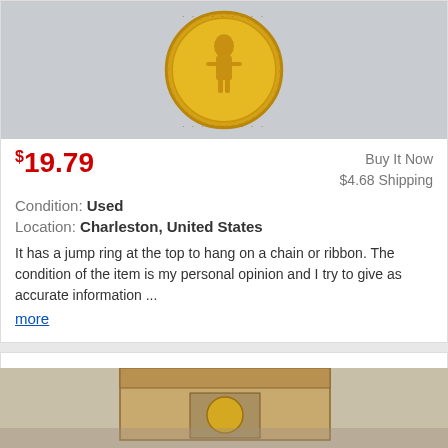[Figure (photo): Close-up photo of a gold coin/medal with a figure on it, shown against a light gray background]
$19.79
Buy It Now
$4.68 Shipping
Condition: Used
Location: Charleston, United States
It has a jump ring at the top to hang on a chain or ribbon. The condition of the item is my personal opinion and I try to give as accurate information ...
more
VTG LACE FILIGREE LOCKET MIRACULOUS MEDAL GOLDTONE PENDANT NECKLACE ORIGINAL BOX
[Figure (photo): Photo of a small box/package containing a necklace pendant, partially visible at the bottom of the page]